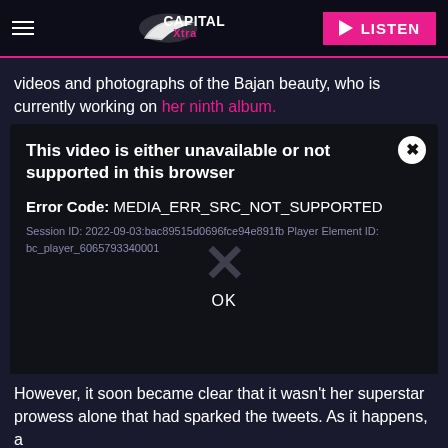Capital Xtra — LISTEN
videos and photographs of the Bajan beauty, who is currently working on her ninth album.
[Figure (screenshot): Video player error dialog on dark background. Title: 'This video is either unavailable or not supported in this browser'. Error Code: MEDIA_ERR_SRC_NOT_SUPPORTED. Session ID: 2022-09-03:bac89515d0696fce94e891fb Player Element ID: bc_player_6065793340001. A large X watermark overlays the center. OK button at bottom.]
However, it soon became clear that it wasn't her superstar prowess alone that had sparked the tweets. As it happens, a